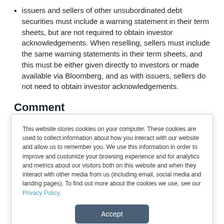issuers and sellers of other unsubordinated debt securities must include a warning statement in their term sheets, but are not required to obtain investor acknowledgements. When reselling, sellers must include the same warning statements in their term sheets, and this must be either given directly to investors or made available via Bloomberg, and as with issuers, sellers do not need to obtain investor acknowledgements.
Comment
This website stores cookies on your computer. These cookies are used to collect information about how you interact with our website and allow us to remember you. We use this information in order to improve and customize your browsing experience and for analytics and metrics about our visitors both on this website and when they interact with other media from us (including email, social media and landing pages). To find out more about the cookies we use, see our Privacy Policy.